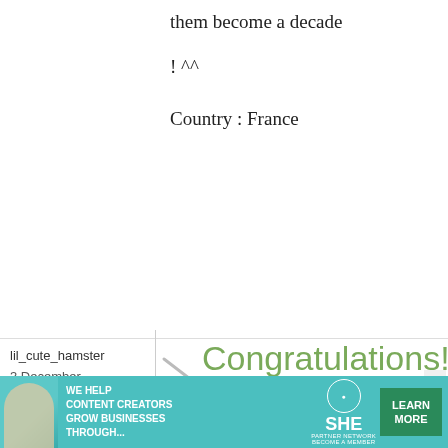them become a decade
! ^^
Country : France
lil_cute_hamster
3 December, 2008 - 12:22
permalink
Congratulations!
Congratulations for the anniversary of this site! Although i have only recently visited it, I really love to try out your new recipes.
[Figure (infographic): Advertisement banner: teal background with woman image, 'We Help Content Creators Grow Businesses Through...' text, SHE Partner Network logo, and 'Learn More' green button]